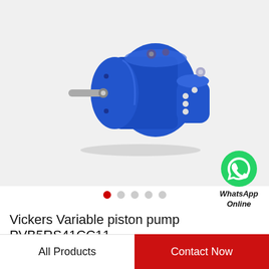[Figure (photo): Blue Vickers variable piston pump PVB5RS41CC11 shown in 3/4 perspective view with shaft protruding from the left side and adjustment screws visible on the right side.]
[Figure (logo): WhatsApp green chat bubble icon with phone handset symbol, labeled 'WhatsApp Online' in bold italic text below.]
Vickers Variable piston pump PVB5RS41CC11
All Products
Contact Now